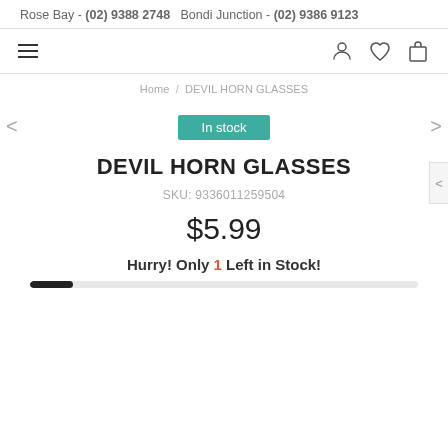Rose Bay - (02) 9388 2748   Bondi Junction - (02) 9386 9123
[Figure (screenshot): Navigation bar with hamburger menu on left and user/wishlist/cart icons on right]
Home / DEVIL HORN GLASSES
In stock
DEVIL HORN GLASSES
SKU: 9336011259504
$5.99
Hurry! Only 1 Left in Stock!